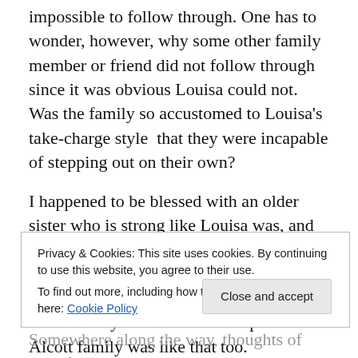impossible to follow through. One has to wonder, however, why some other family member or friend did not follow through since it was obvious Louisa could not. Was the family so accustomed to Louisa's take-charge style  that they were incapable of stepping out on their own?
I happened to be blessed with an older sister who is strong like Louisa was, and she is the one we all turn to in a crisis. I do find it hard, however, to act without her guidance and automatically defer to her authority in all cases. Perhaps the Alcott family was like that too.
Privacy & Cookies: This site uses cookies. By continuing to use this website, you agree to their use.
To find out more, including how to control cookies, see here: Cookie Policy
Close and accept
Somewhere along the way, thoughts of May fell through